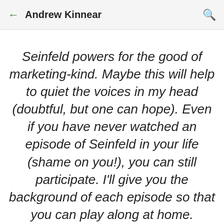Andrew Kinnear
Seinfeld powers for the good of marketing-kind. Maybe this will help to quiet the voices in my head (doubtful, but one can hope). Even if you have never watched an episode of Seinfeld in your life (shame on you!), you can still participate. I'll give you the background of each episode so that you can play along at home. …on with the show.